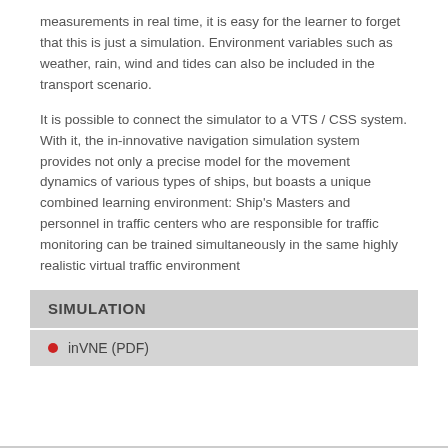measurements in real time, it is easy for the learner to forget that this is just a simulation. Environment variables such as weather, rain, wind and tides can also be included in the transport scenario.
It is possible to connect the simulator to a VTS / CSS system. With it, the in-innovative navigation simulation system provides not only a precise model for the movement dynamics of various types of ships, but boasts a unique combined learning environment: Ship's Masters and personnel in traffic centers who are responsible for traffic monitoring can be trained simultaneously in the same highly realistic virtual traffic environment
SIMULATION
inVNE (PDF)